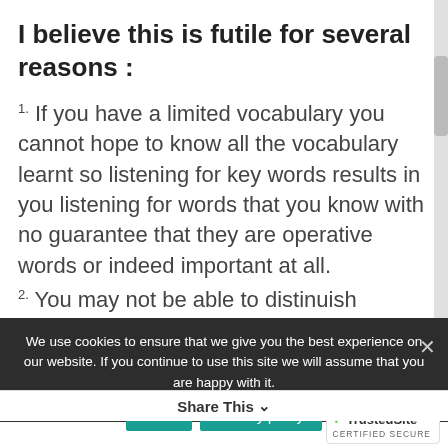I believe this is futile for several reasons :
1. If you have a limited vocabulary you cannot hope to know all the vocabulary learnt so listening for key words results in you listening for words that you know with no guarantee that they are operative words or indeed important at all.
2. You may not be able to distinuish between changes of speakers in a
We use cookies to ensure that we give you the best experience on our website. If you continue to use this site we will assume that you are happy with it.
Share This